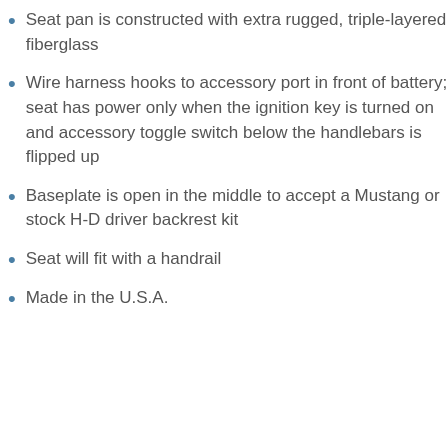Seat pan is constructed with extra rugged, triple-layered fiberglass
Wire harness hooks to accessory port in front of battery; seat has power only when the ignition key is turned on and accessory toggle switch below the handlebars is flipped up
Baseplate is open in the middle to accept a Mustang or stock H-D driver backrest kit
Seat will fit with a handrail
Made in the U.S.A.